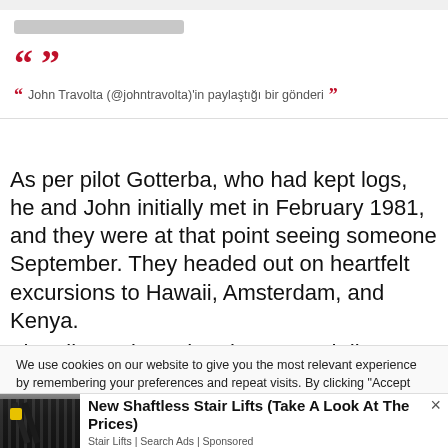[Figure (screenshot): Social media embed placeholder with large red opening and closing quotation marks, and a smaller inline quote attribution: John Travolta (@johntravolta)'in paylaştığı bir gönderi]
As per pilot Gotterba, who had kept logs, he and John initially met in February 1981, and they were at that point seeing someone September. They headed out on heartfelt excursions to Hawaii, Amsterdam, and Kenya.
The pilot reviews that they stayed discreet, and the
We use cookies on our website to give you the most relevant experience by remembering your preferences and repeat visits. By clicking "Accept All", you consent to the use of ALL the cookies. However, you may visit "Cookie Settings" to provide a controlled consent.
[Figure (photo): Advertisement image showing a stair lift / handrail on outdoor steps]
New Shaftless Stair Lifts (Take A Look At The Prices)
Stair Lifts | Search Ads | Sponsored